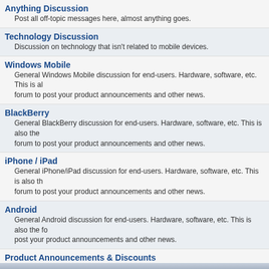Anything Discussion
Post all off-topic messages here, almost anything goes.
Technology Discussion
Discussion on technology that isn't related to mobile devices.
Windows Mobile
General Windows Mobile discussion for end-users. Hardware, software, etc. This is also the forum to post your product announcements and other news.
BlackBerry
General BlackBerry discussion for end-users. Hardware, software, etc. This is also the forum to post your product announcements and other news.
iPhone / iPad
General iPhone/iPad discussion for end-users. Hardware, software, etc. This is also the forum to post your product announcements and other news.
Android
General Android discussion for end-users. Hardware, software, etc. This is also the forum to post your product announcements and other news.
Product Announcements & Discounts
Product news, announcements, and discounts can be posted here.
Hosted Forums
DEXplor
Discuss this new File Management app by Dan East.
Pocket Quake 1 and 2
Discuss Pocket Quake 1 and 2 by Dan East